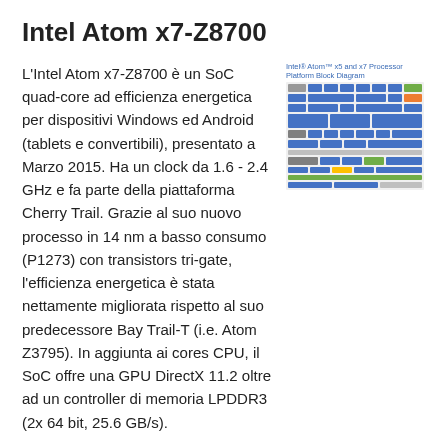Intel Atom x7-Z8700
L'Intel Atom x7-Z8700 è un SoC quad-core ad efficienza energetica per dispositivi Windows ed Android (tablets e convertibili), presentato a Marzo 2015. Ha un clock da 1.6 - 2.4 GHz e fa parte della piattaforma Cherry Trail. Grazie al suo nuovo processo in 14 nm a basso consumo (P1273) con transistors tri-gate, l'efficienza energetica è stata nettamente migliorata rispetto al suo predecessore Bay Trail-T (i.e. Atom Z3795). In aggiunta ai cores CPU, il SoC offre una GPU DirectX 11.2 oltre ad un controller di memoria LPDDR3 (2x 64 bit, 25.6 GB/s).
[Figure (schematic): Intel Atom x5 and x7 Processor Platform Block Diagram showing SoC architecture with CPU cores, GPU, memory controller, and I/O blocks in a color-coded block diagram.]
Architettura
I processor cores si basano sull'architettura Airmont, che